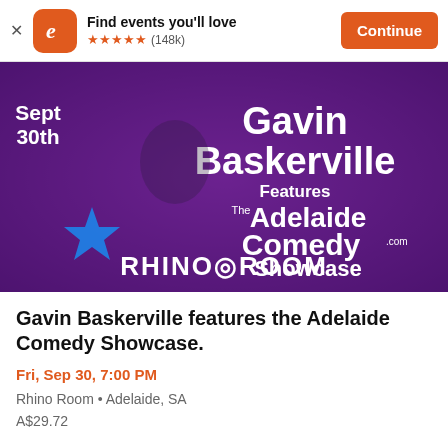Find events you'll love ★★★★★ (148k) Continue
[Figure (photo): Event promotional banner for Gavin Baskerville featuring the Adelaide Comedy Showcase at Rhino Room on Sept 30th. Purple textured background with a man in a dark shirt, cartoon characters, and white bold text.]
Gavin Baskerville features the Adelaide Comedy Showcase.
Fri, Sep 30, 7:00 PM
Rhino Room • Adelaide, SA
A$29.72